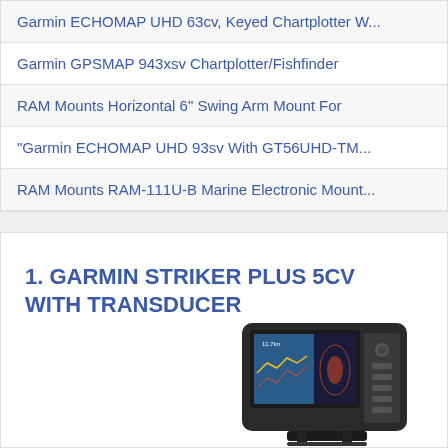Garmin ECHOMAP UHD 63cv, Keyed Chartplotter W...
Garmin GPSMAP 943xsv Chartplotter/Fishfinder
RAM Mounts Horizontal 6" Swing Arm Mount For
"Garmin ECHOMAP UHD 93sv With GT56UHD-TM...
RAM Mounts RAM-111U-B Marine Electronic Mount...
1. GARMIN STRIKER PLUS 5CV WITH TRANSDUCER
[Figure (photo): Garmin Striker Plus 5cv fish finder device with display showing sonar/chartplotter screen and buttons on right side, with mount bracket at bottom]